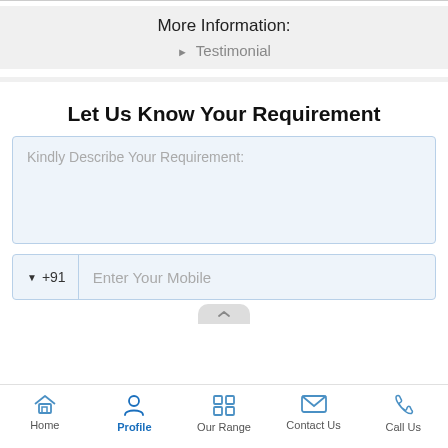More Information:
▶ Testimonial
Let Us Know Your Requirement
Kindly Describe Your Requirement:
▼ +91  Enter Your Mobile
Home  Profile  Our Range  Contact Us  Call Us